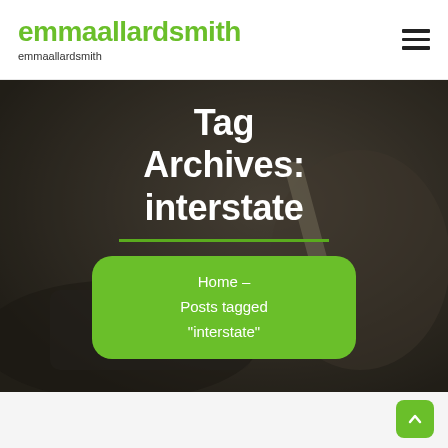emmaallardsmith — emmaallardsmith
Tag Archives: interstate
Home – Posts tagged "interstate"